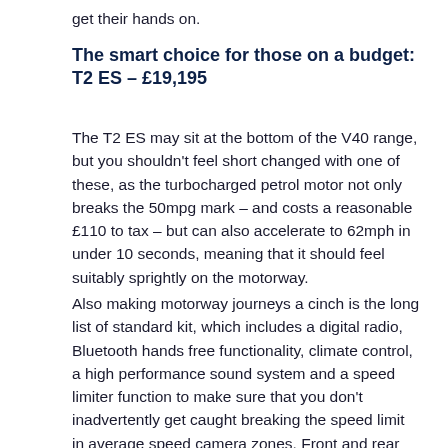get their hands on.
The smart choice for those on a budget: T2 ES – £19,195
The T2 ES may sit at the bottom of the V40 range, but you shouldn't feel short changed with one of these, as the turbocharged petrol motor not only breaks the 50mpg mark – and costs a reasonable £110 to tax – but can also accelerate to 62mph in under 10 seconds, meaning that it should feel suitably sprightly on the motorway.
Also making motorway journeys a cinch is the long list of standard kit, which includes a digital radio, Bluetooth hands free functionality, climate control, a high performance sound system and a speed limiter function to make sure that you don't inadvertently get caught breaking the speed limit in average speed camera zones. Front and rear electric windows and 16-